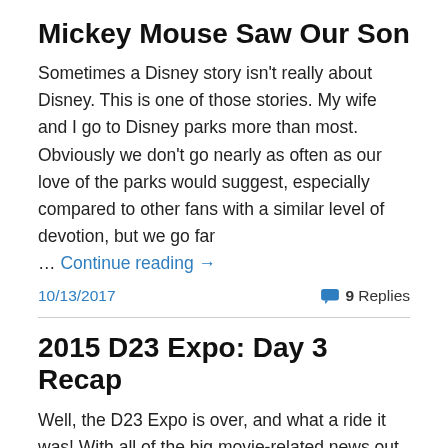Mickey Mouse Saw Our Son
Sometimes a Disney story isn't really about Disney. This is one of those stories. My wife and I go to Disney parks more than most. Obviously we don't go nearly as often as our love of the parks would suggest, especially compared to other fans with a similar level of devotion, but we go far … Continue reading →
10/13/2017    9 Replies
2015 D23 Expo: Day 3 Recap
Well, the D23 Expo is over, and what a ride it was! With all of the big movie-related news out of the way with Animation on Day 1 and Live Action on Day 2, today for